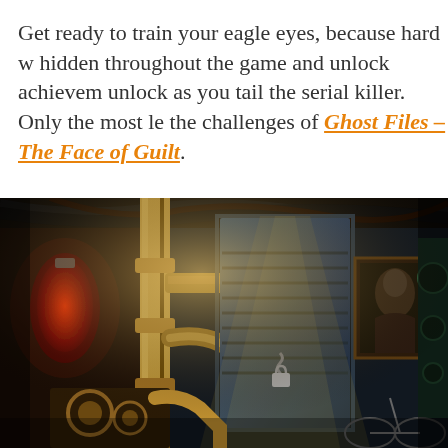Get ready to train your eagle eyes, because hard w hidden throughout the game and unlock achievem unlock as you tail the serial killer. Only the most le the challenges of Ghost Files – The Face of Guilt.
[Figure (screenshot): A dark steampunk/mystery game scene showing a dimly lit room with large industrial pipes, gears, chains, a locked door with louvered shutters illuminated by dramatic light beams, a framed portrait on the wall, red lantern on the left, and mechanical objects throughout.]